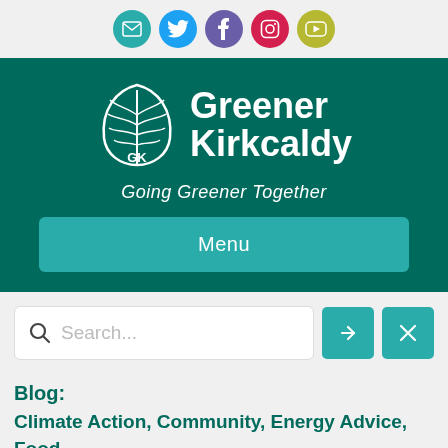[Figure (logo): Social media icon bar with email (teal), Twitter (blue), Facebook (purple), Instagram (red/pink), YouTube (olive/yellow) circular icons]
[Figure (logo): Greener Kirkcaldy logo with white leaf/GK emblem on dark teal background, text 'Greener Kirkcaldy' and tagline 'Going Greener Together']
Menu
Search...
Blog:
Climate Action, Community, Energy Advice, Food & Growing, Kids, Place & People, Transport...